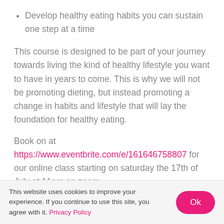Develop healthy eating habits you can sustain one step at a time
This course is designed to be part of your journey towards living the kind of healthy lifestyle you want to have in years to come. This is why we will not be promoting dieting, but instead promoting a change in habits and lifestyle that will lay the foundation for healthy eating.
Book on at https://www.eventbrite.com/e/161646758807 for our online class starting on saturday the 17th of July at 11am on zoom
This website uses cookies to improve your experience. If you continue to use this site, you agree with it. Privacy Policy